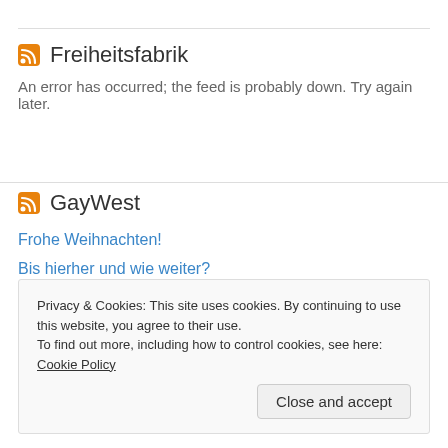Freiheitsfabrik
An error has occurred; the feed is probably down. Try again later.
GayWest
Frohe Weihnachten!
Bis hierher und wie weiter?
Was unmenschlich ist
Scheitern kann ein Segen sein …
Privacy & Cookies: This site uses cookies. By continuing to use this website, you agree to their use. To find out more, including how to control cookies, see here: Cookie Policy
Close and accept